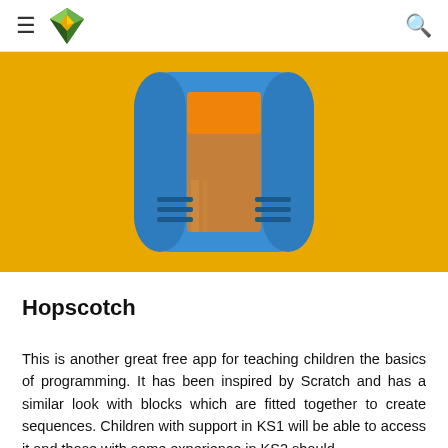≡ [logo] 🔍
[Figure (screenshot): Hopscotch app icon — a blue rounded-rectangle app icon with an orange/brown H-shaped design in the center, on a golden-yellow background banner]
Hopscotch
This is another great free app for teaching children the basics of programming. It has been inspired by Scratch and has a similar look with blocks which are fitted together to create sequences. Children with support in KS1 will be able to access it and those with some experience in KS2 should